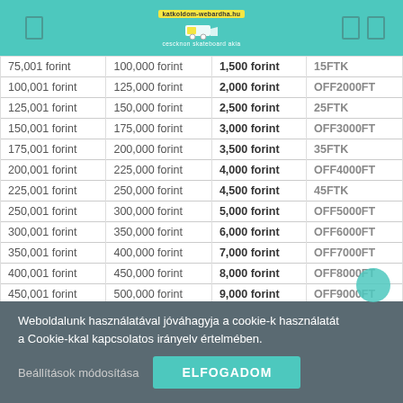katkoldom-webardha.hu | cescknon skateboard akia
| Tól | Ig | Kedvezmény | Kupon kód |
| --- | --- | --- | --- |
| 75,001 forint | 100,000 forint | 1,500 forint | 15FTK |
| 100,001 forint | 125,000 forint | 2,000 forint | OFF2000FT |
| 125,001 forint | 150,000 forint | 2,500 forint | 25FTK |
| 150,001 forint | 175,000 forint | 3,000 forint | OFF3000FT |
| 175,001 forint | 200,000 forint | 3,500 forint | 35FTK |
| 200,001 forint | 225,000 forint | 4,000 forint | OFF4000FT |
| 225,001 forint | 250,000 forint | 4,500 forint | 45FTK |
| 250,001 forint | 300,000 forint | 5,000 forint | OFF5000FT |
| 300,001 forint | 350,000 forint | 6,000 forint | OFF6000FT |
| 350,001 forint | 400,000 forint | 7,000 forint | OFF7000FT |
| 400,001 forint | 450,000 forint | 8,000 forint | OFF8000FT |
| 450,001 forint | 500,000 forint | 9,000 forint | OFF9000FT |
Weboldalunk használatával jóváhagyja a cookie-k használatát a Cookie-kkal kapcsolatos irányelv értelmében.
Beállítások módosítása
ELFOGADOM